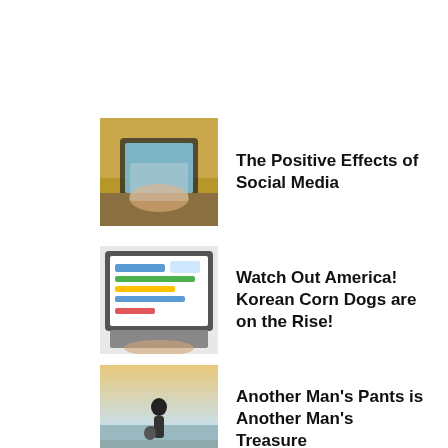[Figure (photo): Person holding a tablet device]
The Positive Effects of Social Media
[Figure (photo): Laptop showing a website with colorful loading bars]
Watch Out America! Korean Corn Dogs are on the Rise!
[Figure (photo): Person standing outdoors at dusk or dawn with a bag]
Another Man’s Pants is Another Man’s Treasure